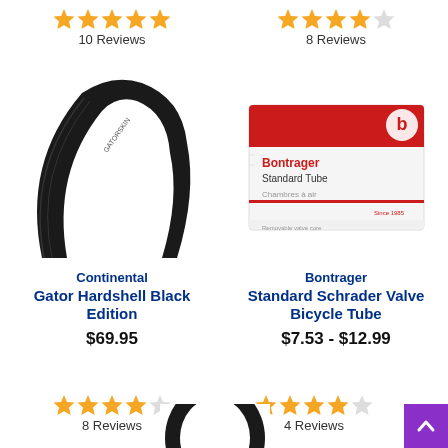[Figure (other): 5 orange stars rating for top-left product, 10 Reviews]
10 Reviews
[Figure (other): 4.5 orange stars rating for top-right product, 8 Reviews]
8 Reviews
[Figure (photo): Continental Gator Hardshell Black Edition bicycle tire, black, on white background]
[Figure (photo): Bontrager Standard Tube product in white and red box packaging]
Continental
Gator Hardshell Black Edition
$69.95
[Figure (other): 4 orange stars rating, 8 Reviews]
8 Reviews
Bontrager
Standard Schrader Valve Bicycle Tube
$7.53 - $12.99
[Figure (other): 4 orange stars rating, 4 Reviews]
4 Reviews
[Figure (other): Purple back-to-top button with upward chevron arrow]
[Figure (photo): Partial view of another bicycle tire at bottom center]